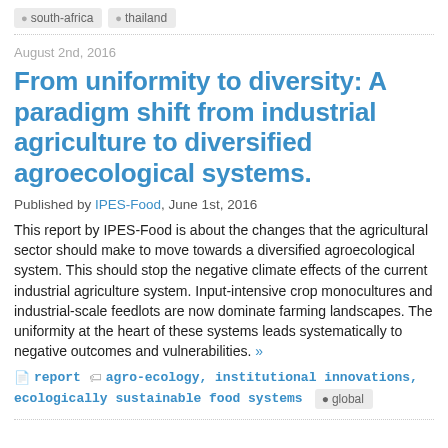south-africa
thailand
August 2nd, 2016
From uniformity to diversity: A paradigm shift from industrial agriculture to diversified agroecological systems.
Published by IPES-Food, June 1st, 2016
This report by IPES-Food is about the changes that the agricultural sector should make to move towards a diversified agroecological system. This should stop the negative climate effects of the current industrial agriculture system. Input-intensive crop monocultures and industrial-scale feedlots are now dominate farming landscapes. The uniformity at the heart of these systems leads systematically to negative outcomes and vulnerabilities. »
report   agro-ecology, institutional innovations, ecologically sustainable food systems   global